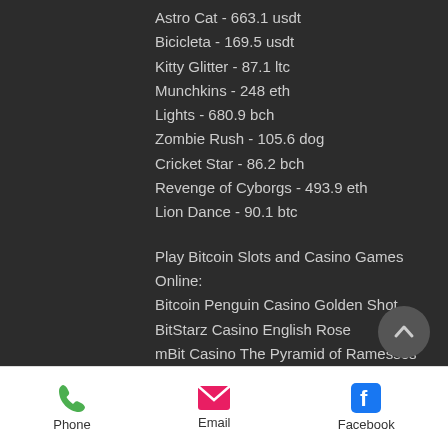Astro Cat - 663.1 usdt
Bicicleta - 169.5 usdt
Kitty Glitter - 87.1 ltc
Munchkins - 248 eth
Lights - 680.9 bch
Zombie Rush - 105.6 dog
Cricket Star - 86.2 bch
Revenge of Cyborgs - 493.9 eth
Lion Dance - 90.1 btc
Play Bitcoin Slots and Casino Games Online:
Bitcoin Penguin Casino Golden Shot
BitStarz Casino English Rose
mBit Casino The Pyramid of Ramesses
mBit Casino Starmania
1xBit Casino Evil Genotype
OneHash Booming Gold
Phone  Email  Facebook